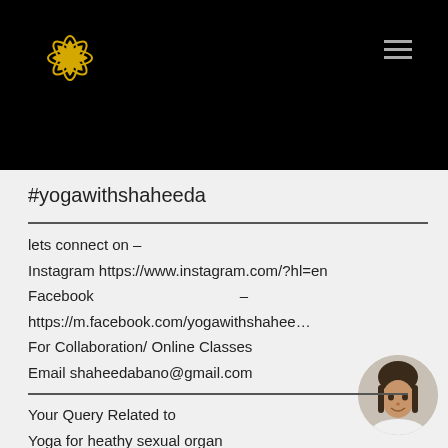[Figure (logo): Black header banner with golden flower/daisy logo on the left and hamburger menu icon on the right]
#yogawithshaheeda
lets connect on –
Instagram https://www.instagram.com/?hl=en
Facebook –
https://m.facebook.com/yogawithshahee…
For Collaboration/ Online Classes
Email shaheedabano@gmail.com
Your Query Related to
Yoga for heathy sexual organ